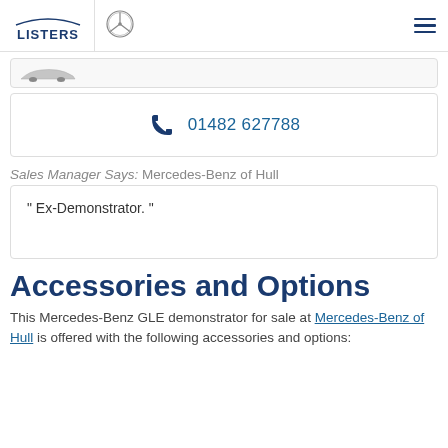LISTERS | Mercedes-Benz logo | hamburger menu
[Figure (photo): Partial view of a car (Mercedes-Benz GLE) at the top of the page, clipped]
01482 627788
Sales Manager Says: Mercedes-Benz of Hull
" Ex-Demonstrator. "
Accessories and Options
This Mercedes-Benz GLE demonstrator for sale at Mercedes-Benz of Hull is offered with the following accessories and options: